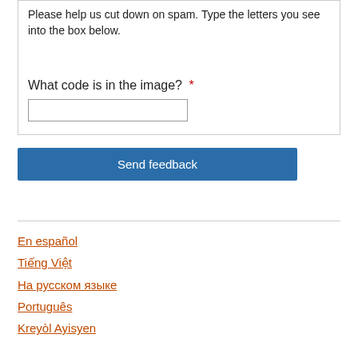Please help us cut down on spam. Type the letters you see into the box below.
What code is in the image? *
En español
Tiếng Việt
На русском языке
Português
Kreyòl Ayisyen